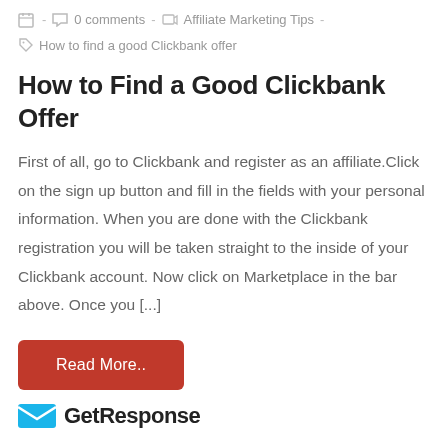0 comments - Affiliate Marketing Tips - How to find a good Clickbank offer
How to Find a Good Clickbank Offer
First of all, go to Clickbank and register as an affiliate.Click on the sign up button and fill in the fields with your personal information. When you are done with the Clickbank registration you will be taken straight to the inside of your Clickbank account. Now click on Marketplace in the bar above. Once you [...]
Read More..
[Figure (logo): GetResponse logo with blue envelope icon and bold text]